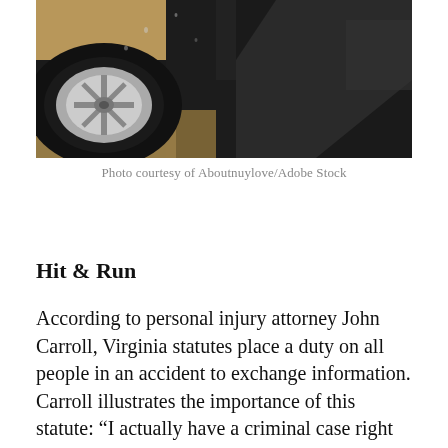[Figure (photo): Close-up photo of a wet car wheel and lower car body, appears to be after a collision or in the rain, showing a silver alloy wheel and dark car body panel.]
Photo courtesy of Aboutnuylove/Adobe Stock
Hit & Run
According to personal injury attorney John Carroll, Virginia statutes place a duty on all people in an accident to exchange information. Carroll illustrates the importance of this statute: “I actually have a criminal case right now where a woman—I would say she’s in her 70s—was rear-ended on the 495. She got out of her car and said, ‘Is